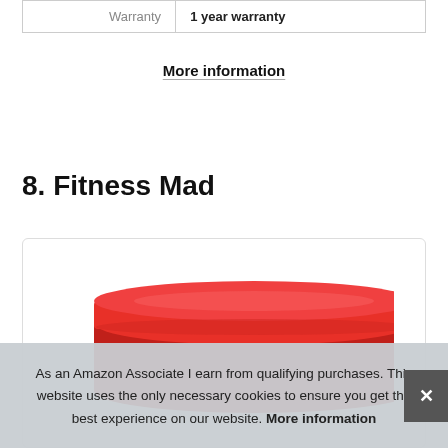|  |  |
| --- | --- |
| Warranty | 1 year warranty |
More information
8. Fitness Mad
[Figure (photo): Red folded fitness mat or resistance band product image inside a white card with border]
As an Amazon Associate I earn from qualifying purchases. This website uses the only necessary cookies to ensure you get the best experience on our website. More information